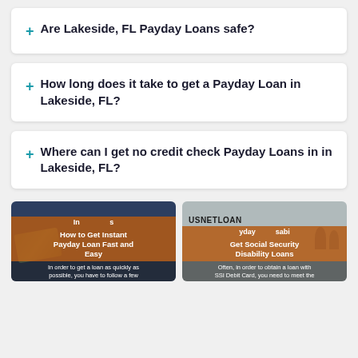Are Lakeside, FL Payday Loans safe?
How long does it take to get a Payday Loan in Lakeside, FL?
Where can I get no credit check Payday Loans in in Lakeside, FL?
[Figure (illustration): Article card with dark blue background showing dollar bills image, with orange title bar reading 'How to Get Instant Payday Loan Fast and Easy' and snippet text 'In order to get a loan as quickly as possible, you have to follow a few']
[Figure (illustration): Article card with grey background showing USNETLOAN branding and illustrated figures, with orange title bar reading 'Get Social Security Disability Loans' and snippet text 'Often, in order to obtain a loan with SSI Debit Card, you need to meet the']